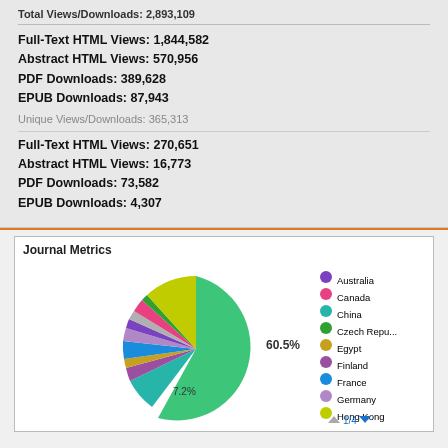Total Views/Downloads: 2,893,109
Full-Text HTML Views: 1,844,582
Abstract HTML Views: 570,956
PDF Downloads: 389,628
EPUB Downloads: 87,943
Unique Views/Downloads: 365,313
Full-Text HTML Views: 270,651
Abstract HTML Views: 16,773
PDF Downloads: 73,582
EPUB Downloads: 4,307
[Figure (pie-chart): Pie chart showing Journal Metrics by country. Large green slice labeled 60.5%, teal slice labeled 7.2%. Legend shows Australia, Canada, China, Czech Repu..., Egypt, Finland, France, Germany, Hong Kong with pagination 1/4.]